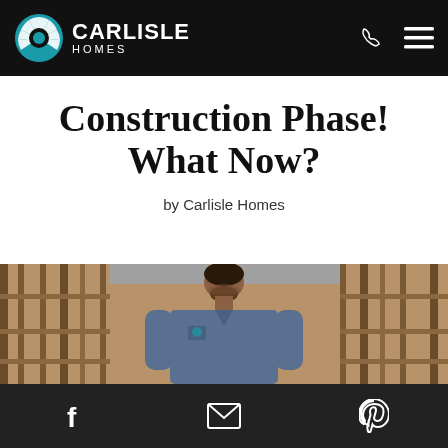Carlisle Homes
Construction Phase! What Now?
by Carlisle Homes
[Figure (photo): A construction worker in a blue shirt looking down, standing inside a house under construction with visible wooden framing/studs in the background.]
Social share icons: Facebook, Email, Pinterest